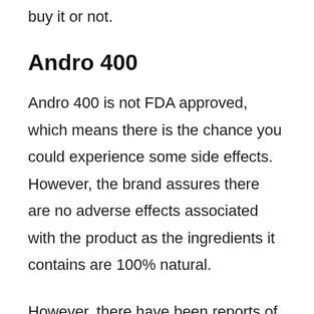buy it or not.
Andro 400
Andro 400 is not FDA approved, which means there is the chance you could experience some side effects. However, the brand assures there are no adverse effects associated with the product as the ingredients it contains are 100% natural.
However, there have been reports of people experiencing bloating, dizziness, and